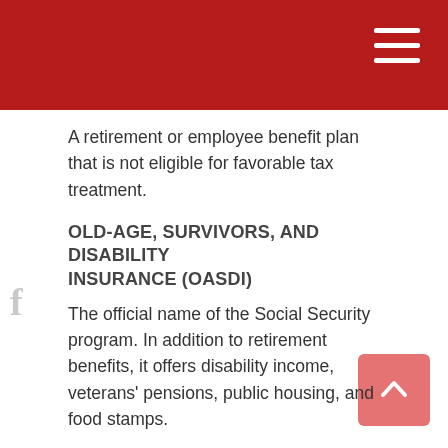A retirement or employee benefit plan that is not eligible for favorable tax treatment.
OLD-AGE, SURVIVORS, AND DISABILITY INSURANCE (OASDI)
The official name of the Social Security program. In addition to retirement benefits, it offers disability income, veterans' pensions, public housing, and food stamps.
PARTNERSHIP
A contract under which two or more individuals manage and operate a business venture.
PERMANENT LIFE INSURANCE
A class of life insurance policies that do not expire—as long as premiums are kept current—and which combine a death benefit with a savings component.